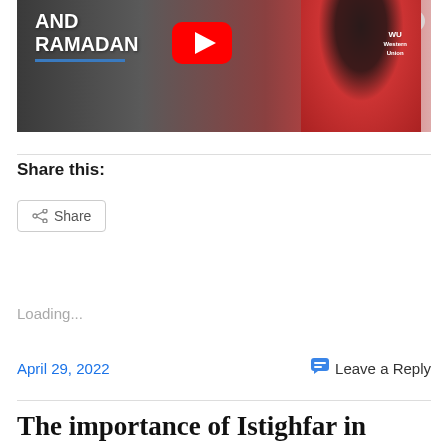[Figure (screenshot): YouTube video thumbnail showing a Liverpool FC player in red kit with text 'AND RAMADAN' and YouTube play button overlay]
Share this:
Share
Loading...
April 29, 2022
Leave a Reply
The importance of Istighfar in